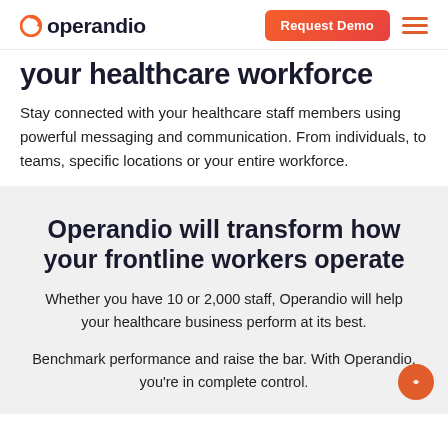[Figure (logo): Operandio logo with orange circular arrow icon and dark text]
your healthcare workforce
Stay connected with your healthcare staff members using powerful messaging and communication. From individuals, to teams, specific locations or your entire workforce.
Operandio will transform how your frontline workers operate
Whether you have 10 or 2,000 staff, Operandio will help your healthcare business perform at its best.
Benchmark performance and raise the bar. With Operandio, you're in complete control.